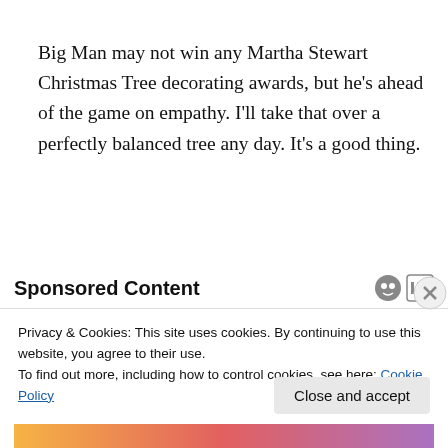Big Man may not win any Martha Stewart Christmas Tree decorating awards, but he's ahead of the game on empathy. I'll take that over a perfectly balanced tree any day. It's a good thing.
Sponsored Content
Privacy & Cookies: This site uses cookies. By continuing to use this website, you agree to their use.
To find out more, including how to control cookies, see here: Cookie Policy
Close and accept